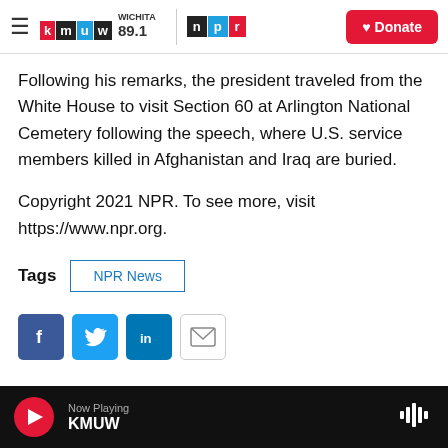KMUW WICHITA 89.1 | NPR | Donate
Following his remarks, the president traveled from the White House to visit Section 60 at Arlington National Cemetery following the speech, where U.S. service members killed in Afghanistan and Iraq are buried.
Copyright 2021 NPR. To see more, visit https://www.npr.org.
Tags  NPR News
[Figure (infographic): Social share icons: Facebook (blue), Twitter (blue), LinkedIn (blue), Email (white with envelope icon)]
Now Playing KMUW